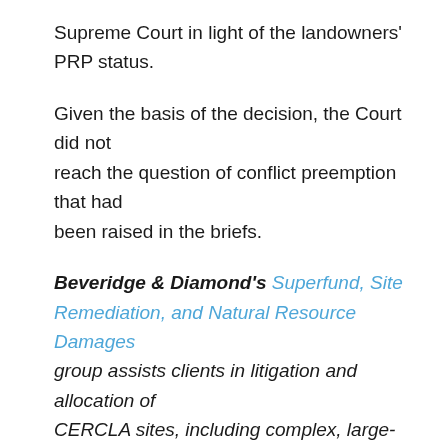Supreme Court in light of the landowners' PRP status.
Given the basis of the decision, the Court did not reach the question of conflict preemption that had been raised in the briefs.
Beveridge & Diamond's Superfund, Site Remediation, and Natural Resource Damages group assists clients in litigation and allocation of CERCLA sites, including complex, large-scale sites. We counsel clients on developing case law and requirements under CERCLA and state-equivalent laws. For more information on this Alert, please contact the authors.